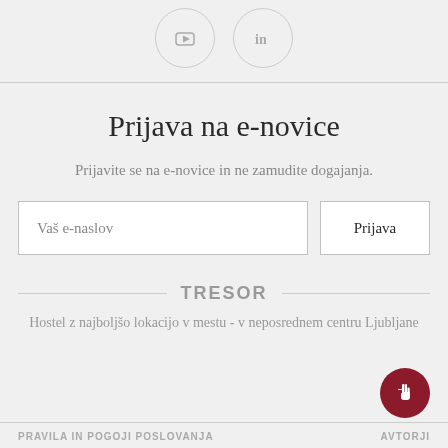[Figure (illustration): Two social media icon circles: YouTube and LinkedIn, shown as circular bordered buttons with icons inside, on a light gray background.]
Prijava na e-novice
Prijavite se na e-novice in ne zamudite dogajanja.
Vaš e-naslov
Prijava
TRESOR
Hostel z najboljšo lokacijo v mestu - v neposrednem centru Ljubljane
PRAVILA IN POGOJI POSLOVANJA    AVTORJI